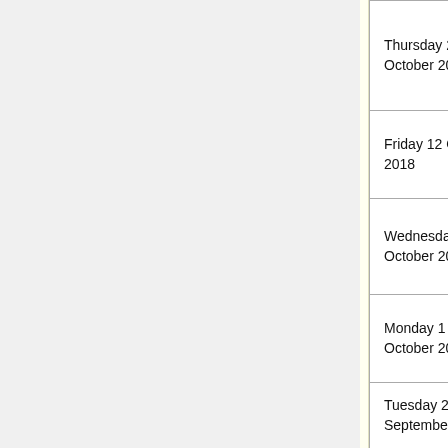| Date | Topic |
| --- | --- |
| Thursday 25 October 2018 | debrief test, next path in our learning, treehouse homework |
| Friday 12 October 2018 | Programming |
| Wednesday 3 October 2018 | Programming |
| Monday 1 October 2018 | Programming |
| Tuesday 25 September | You have a test today |